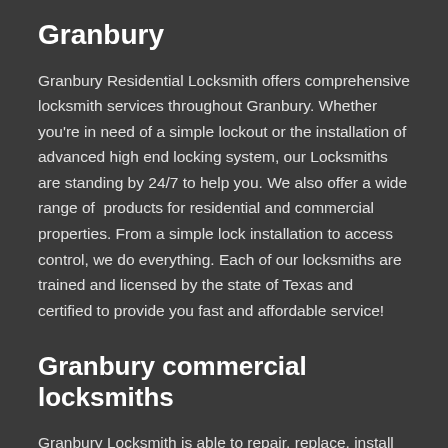Granbury
Granbury Residential Locksmith offers comprehensive locksmith services throughout Granbury. Whether you're in need of a simple lockout or the installation of advanced high end locking system, our Locksmiths are standing by 24/7 to help you. We also offer a wide range of  products for residential and commercial properties. From a simple lock installation to access control, we do everything. Each of our locksmiths are trained and licensed by the state of Texas and certified to provide you fast and affordable service!
Granbury commercial locksmiths
Granbury Locksmith is able to repair, replace, install or replace, anything that is related to your business,